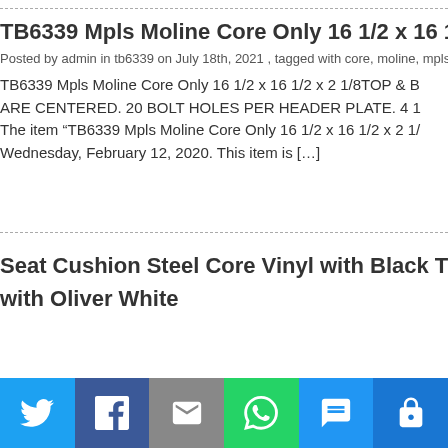TB6339 Mpls Moline Core Only 16 1/2 x 16 1...
Posted by admin in tb6339 on July 18th, 2021 , tagged with core, moline, mpls, only,...
TB6339 Mpls Moline Core Only 16 1/2 x 16 1/2 x 2 1/8TOP & B... ARE CENTERED. 20 BOLT HOLES PER HEADER PLATE. 4 1... The item “TB6339 Mpls Moline Core Only 16 1/2 x 16 1/2 x 2 1/... Wednesday, February 12, 2020. This item is […]
Seat Cushion Steel Core Vinyl with Black Trim... with Oliver White...